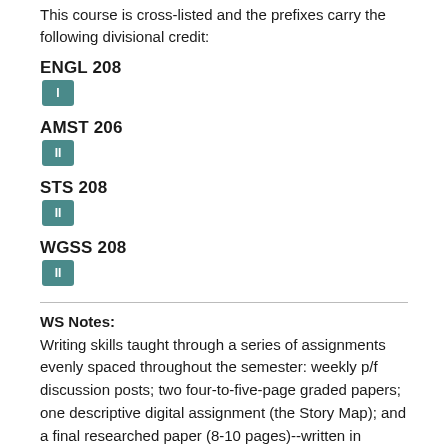This course is cross-listed and the prefixes carry the following divisional credit:
ENGL 208
[Figure (other): Teal badge with Roman numeral I]
AMST 206
[Figure (other): Teal badge with Roman numeral II]
STS 208
[Figure (other): Teal badge with Roman numeral II]
WGSS 208
[Figure (other): Teal badge with Roman numeral II]
WS Notes:
Writing skills taught through a series of assignments evenly spaced throughout the semester: weekly p/f discussion posts; two four-to-five-page graded papers; one descriptive digital assignment (the Story Map); and a final researched paper (8-10 pages)--written in stages. Students receive critical feedback on written